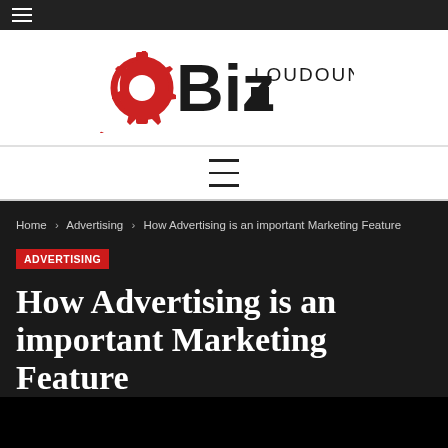Loudoun Biz — site header with logo and navigation
Home › Advertising › How Advertising is an important Marketing Feature
ADVERTISING
How Advertising is an important Marketing Feature